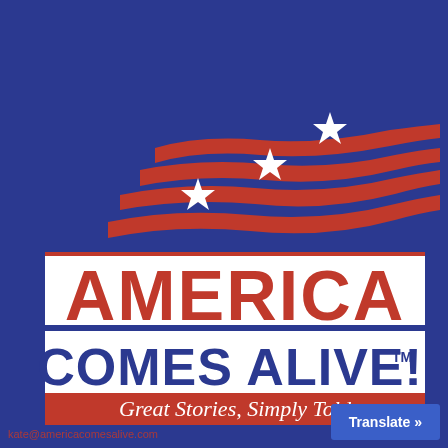[Figure (logo): America Comes Alive logo with three white stars and red wavy flag stripes on a navy blue background, with text 'AMERICA COMES ALIVE!™ Great Stories, Simply Told' on a white and red banner below]
kate@americacomesalive.com
Translate »